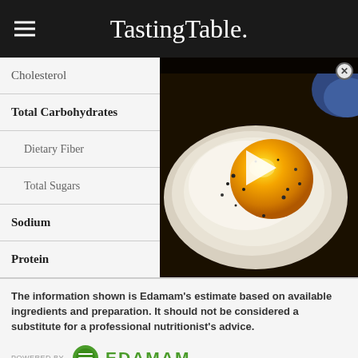TastingTable.
| Nutrient | Amount |
| --- | --- |
| Cholesterol | 0.0 mg |
| Total Carbohydrates |  |
| Dietary Fiber |  |
| Total Sugars |  |
| Sodium |  |
| Protein | 3.4 g |
[Figure (photo): Fried egg with black pepper seasoning, video thumbnail with play button overlay]
The information shown is Edamam's estimate based on available ingredients and preparation. It should not be considered a substitute for a professional nutritionist's advice.
[Figure (logo): POWERED BY EDAMAM logo with green circular icon]
RATE THIS RECIPE ★★★★★